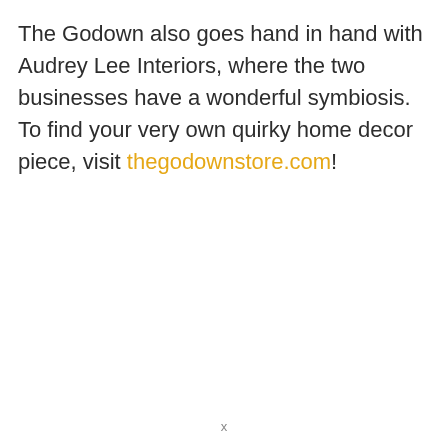The Godown also goes hand in hand with Audrey Lee Interiors, where the two businesses have a wonderful symbiosis. To find your very own quirky home decor piece, visit thegodownstore.com!
x